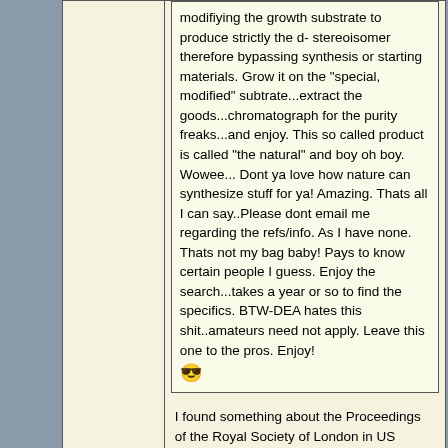modifiying the growth substrate to produce strictly the d- stereoisomer therefore bypassing synthesis or starting materials. Grow it on the "special, modified" subtrate...extract the goods...chromatograph for the purity freaks...and enjoy. This so called product is called "the natural" and boy oh boy. Wowee... Dont ya love how nature can synthesize stuff for ya! Amazing. Thats all I can say..Please dont email me regarding the refs/info. As I have none. Thats not my bag baby! Pays to know certain people I guess. Enjoy the search...takes a year or so to find the specifics. BTW-DEA hates this shit..amateurs need not apply. Leave this one to the pros. Enjoy!
I found something about the Proceedings of the Royal Society of London in US patent 3224945. Also see US3219545
posted on 25-5-2004 at 15:59
If_6_was_9
Unregistered